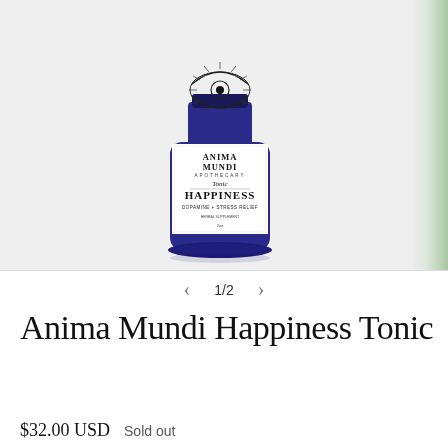[Figure (photo): Product photo of Anima Mundi Apothecary Happiness Tonic bottle. A dark blue/cobalt glass bottle with a white label featuring an illustrated eye graphic at the top, text reading ANIMA MUNDI APOTHECARY, Tonic, HAPPINESS, DOPAMINE + STRESS RELIEF, HERBAL SUPPLEMENT, 2oz. The bottle casts a soft shadow on a light surface. Partial image of another product visible on the right edge.]
1/2
Anima Mundi Happiness Tonic
$32.00 USD  Sold out